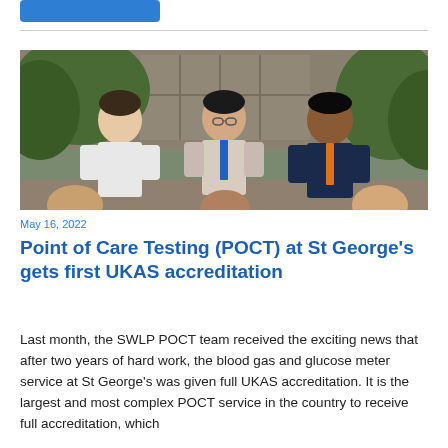[Figure (photo): Group photo of three men standing outdoors in front of a building with greenery/plants, smiling at the camera. One wears a white shirt, one a light top with a blue lanyard, one a dark navy top with an orange lanyard.]
May 16, 2022
Point of Care Testing (POCT) at St George’s gets first UKAS accreditation
Last month, the SWLP POCT team received the exciting news that after two years of hard work, the blood gas and glucose meter service at St George’s was given full UKAS accreditation. It is the largest and most complex POCT service in the country to receive full accreditation, which